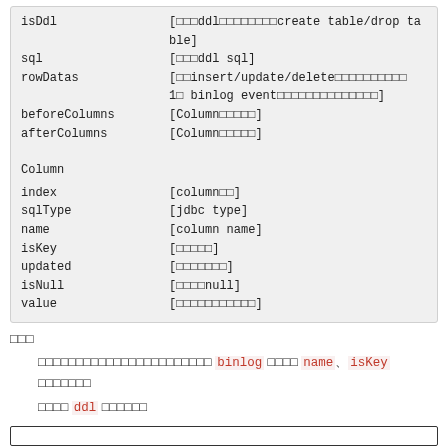isDdl [□□□ddl□□□□□□□□create table/drop table]
sql [□□□ddl sql]
rowDatas [□□insert/update/delete□□□□□□□□□□1□ binlog event□□□□□□□□□□□□□□]
beforeColumns [Column□□□□□]
afterColumns [Column□□□□□]

Column
index [column□□]
sqlType [jdbc type]
name [column name]
isKey [□□□□□]
updated [□□□□□□□]
isNull [□□□□null]
value [□□□□□□□□□□□]
□□□
□□□□□□□□□□□□□□□□□□□□□□□ binlog □□□□ name、isKey □□□□□□□
□□□□ ddl □□□□□□
[Figure (other): Bottom bordered box (empty content area)]